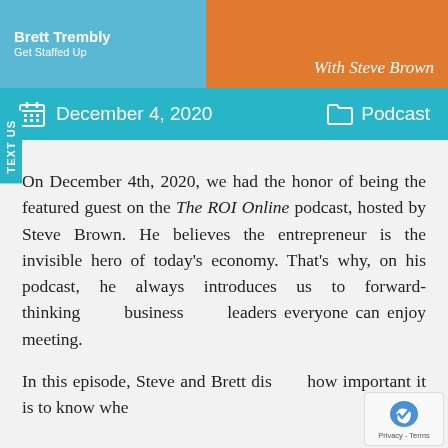[Figure (infographic): Podcast header banner with two-tone background (teal left, orange right). Left side shows 'Brett Trembly / Get Staffed Up'. Right side shows 'With Steve Brown' in italic white text.]
December 4, 2020   Podcast
On December 4th, 2020, we had the honor of being the featured guest on the The ROI Online podcast, hosted by Steve Brown. He believes the entrepreneur is the invisible hero of today's economy. That's why, on his podcast, he always introduces us to forward-thinking business leaders everyone can enjoy meeting.
In this episode, Steve and Brett discuss how important it is to know whe…